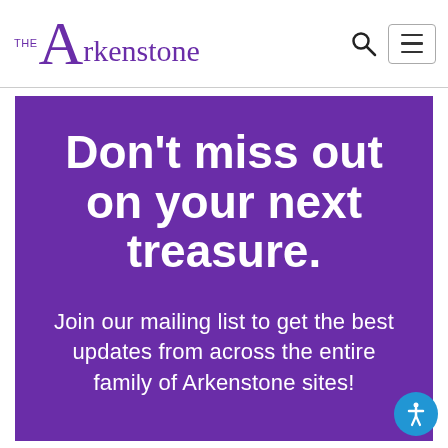[Figure (logo): The Arkenstone logo in purple serif/sans font with a large decorative capital A]
Don't miss out on your next treasure.
Join our mailing list to get the best updates from across the entire family of Arkenstone sites!